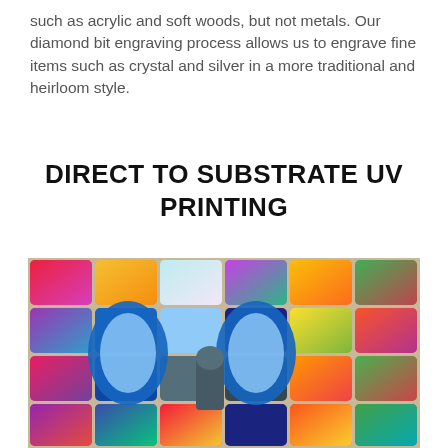such as acrylic and soft woods, but not metals. Our diamond bit engraving process allows us to engrave fine items such as crystal and silver in a more traditional and heirloom style.
DIRECT TO SUBSTRATE UV PRINTING
[Figure (photo): A colorful psychedelic artwork printed on a grid of square tiles arranged in a 6x4 layout, showing a vibrant kaleidoscopic design with a skull-like face, blue arches and a cloaked figure, surrounded by bright abstract patterns in red, yellow, green, purple and blue.]